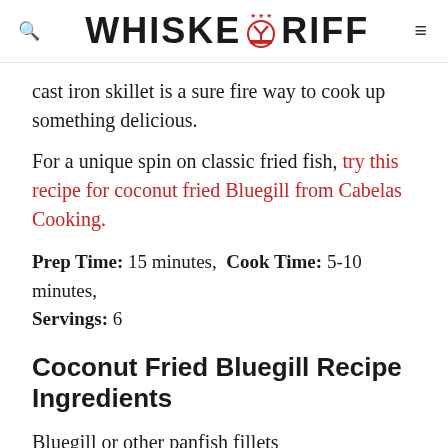WHISKEY RIFF
cast iron skillet is a sure fire way to cook up something delicious.
For a unique spin on classic fried fish, try this recipe for coconut fried Bluegill from Cabelas Cooking.
Prep Time: 15 minutes,  Cook Time: 5-10 minutes,  Servings: 6
Coconut Fried Bluegill Recipe Ingredients
Bluegill or other panfish fillets
Seasoned Flour: